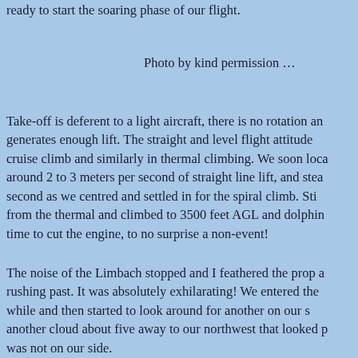ready to start the soaring phase of our flight.
Photo by kind permission …
Take-off is deferent to a light aircraft, there is no rotation an generates enough lift. The straight and level flight attitude cruise climb and similarly in thermal climbing. We soon loca around 2 to 3 meters per second of straight line lift, and stea second as we centred and settled in for the spiral climb. Sti from the thermal and climbed to 3500 feet AGL and dolphin time to cut the engine, to no surprise a non-event!
The noise of the Limbach stopped and I feathered the prop a rushing past. It was absolutely exhilarating! We entered the while and then started to look around for another on our s another cloud about five away to our northwest that looked p was not on our side.